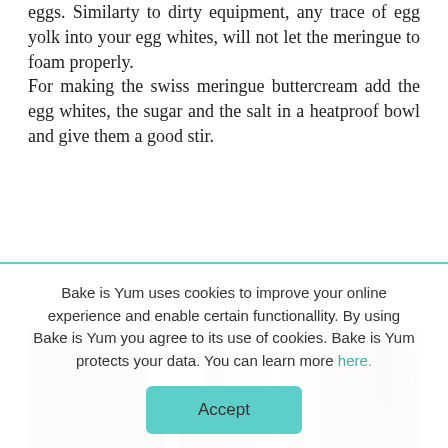eggs. Similarty to dirty equipment, any trace of egg yolk into your egg whites, will not let the meringue to foam properly.
For making the swiss meringue buttercream add the egg whites, the sugar and the salt in a heatproof bowl and give them a good stir.
[Figure (photo): Four sequential photos showing steps: egg whites in a wooden bowl, sugar being poured, salt being added, and a whisk stirring the mixture in a glass bowl.]
Bake is Yum uses cookies to improve your online experience and enable certain functionallity. By using Bake is Yum you agree to its use of cookies. Bake is Yum protects your data. You can learn more here.